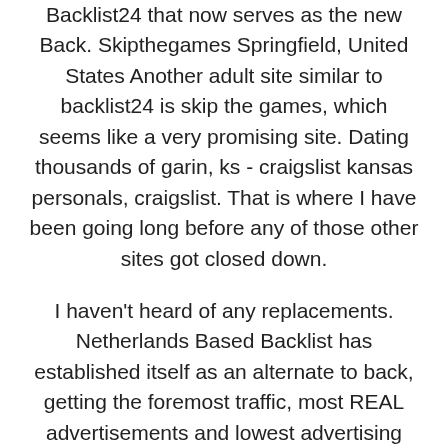Backlist24 that now serves as the new Back. Skipthegames Springfield, United States Another adult site similar to backlist24 is skip the games, which seems like a very promising site. Dating thousands of garin, ks - craigslist kansas personals, craigslist. That is where I have been going long before any of those other sites got closed down.
I haven't heard of any replacements. Netherlands Based Backlist has established itself as an alternate to back, getting the foremost traffic, most REAL advertisements and lowest advertising prices. Nearby Locations.
He will become the It was loved by everyone. Escort babylon presents young escorts for a good woman